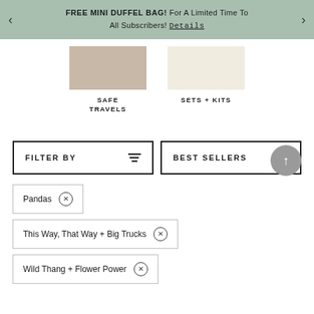FREE MINI DUFFEL BAG! For A Limited Time To All Subscribers! Details
[Figure (photo): Partial product image on left (dark/brown tones)]
SAFE TRAVELS
[Figure (photo): Partial product image on right (cream/beige tones)]
SETS + KITS
FILTER BY
BEST SELLERS
Pandas ×
This Way, That Way + Big Trucks ×
Wild Thang + Flower Power ×